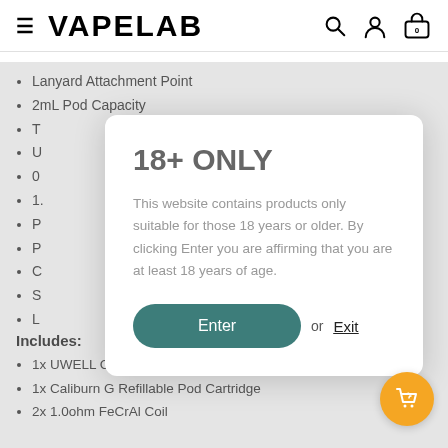VAPELAB
Lanyard Attachment Point
2mL Pod Capacity
T...
U...
O...
1...
P...
P...
C...
S...
L...
O...
U...
[Figure (screenshot): Age verification modal with '18+ ONLY' title, descriptive text, Enter button and Exit link]
Includes:
1x UWELL Caliburn KOKO Prime
1x Caliburn G Refillable Pod Cartridge
2x 1.0ohm FeCrAl Coil